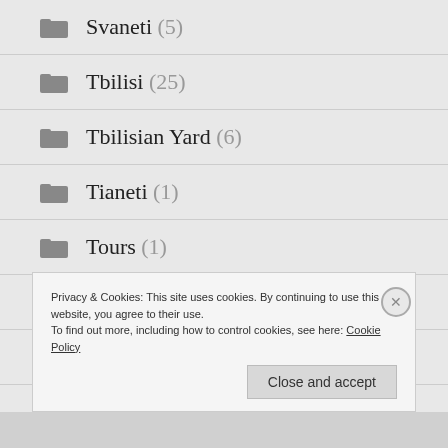Svaneti (5)
Tbilisi (25)
Tbilisian Yard (6)
Tianeti (1)
Tours (1)
Tusheti (9)
Videos (16)
Privacy & Cookies: This site uses cookies. By continuing to use this website, you agree to their use.
To find out more, including how to control cookies, see here: Cookie Policy
Close and accept